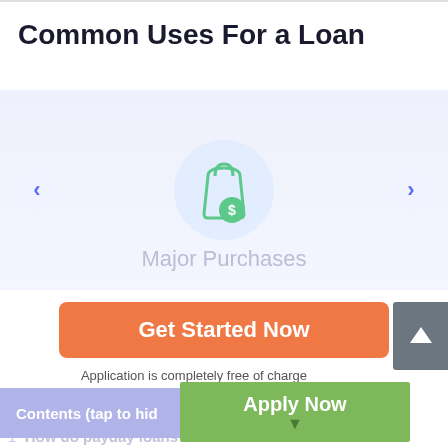Common Uses For a Loan
[Figure (illustration): Shopping bag icon with dollar sign, displayed in a circular light blue background. Left and right carousel navigation arrows on sides.]
Major Purchases
Get Started Now
Application is completely free of charge
Contents (tap to hide)
Apply Now
Applying does NOT affect your credit score! No credit check to apply.
1  How do payday loans Rochester no credit